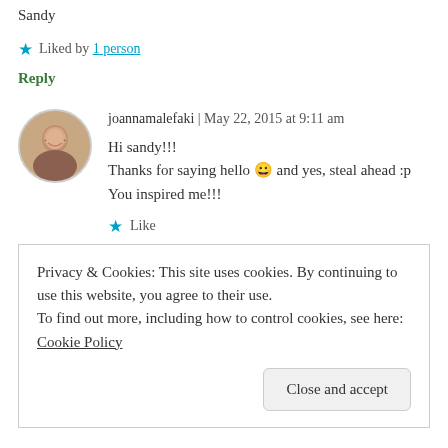this year. I'm an itinerant wanderer 🙂 Sandy
★ Liked by 1 person
Reply
[Figure (photo): Circular avatar photo of joannamalefaki]
joannamalefaki | May 22, 2015 at 9:11 am
Hi sandy!!!
Thanks for saying hello 😀 and yes, steal ahead :p You inspired me!!!
★ Like
Privacy & Cookies: This site uses cookies. By continuing to use this website, you agree to their use.
To find out more, including how to control cookies, see here: Cookie Policy
Close and accept